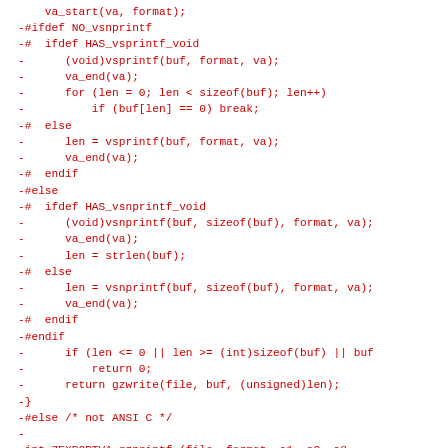va_start(va, format);
-#ifdef NO_vsnprintf
-#  ifdef HAS_vsprintf_void
-      (void)vsprintf(buf, format, va);
-      va_end(va);
-      for (len = 0; len < sizeof(buf); len++)
-          if (buf[len] == 0) break;
-#  else
-      len = vsprintf(buf, format, va);
-      va_end(va);
-#  endif
-#else
-#  ifdef HAS_vsnprintf_void
-      (void)vsnprintf(buf, sizeof(buf), format, va);
-      va_end(va);
-      len = strlen(buf);
-#  else
-      len = vsnprintf(buf, sizeof(buf), format, va);
-      va_end(va);
-#  endif
-#endif
-      if (len <= 0 || len >= (int)sizeof(buf) || buf
-          return 0;
-      return gzwrite(file, buf, (unsigned)len);
-}
-#else /* not ANSI C */
-
-int ZEXPORTVA gzprintf (file, format, a1, a2, a3,
-                        a11, a12, a13, a14, a15, a1
-      gzFile file;
-      const char *format;